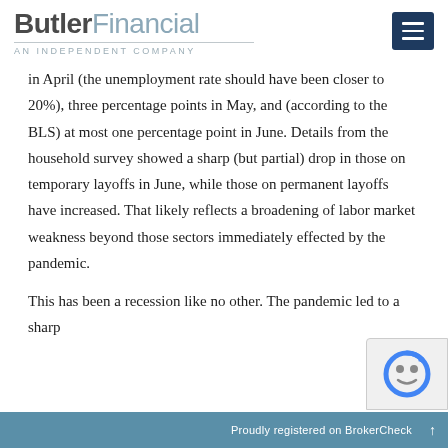ButlerFinancial — AN INDEPENDENT COMPANY
in April (the unemployment rate should have been closer to 20%), three percentage points in May, and (according to the BLS) at most one percentage point in June. Details from the household survey showed a sharp (but partial) drop in those on temporary layoffs in June, while those on permanent layoffs have increased. That likely reflects a broadening of labor market weakness beyond those sectors immediately effected by the pandemic.
This has been a recession like no other. The pandemic led to a sharp...
Proudly registered on BrokerCheck ↑